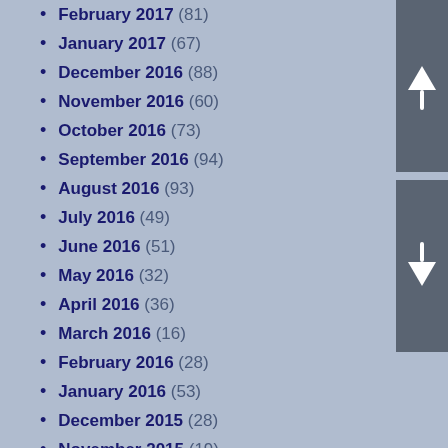February 2017 (81)
January 2017 (67)
December 2016 (88)
November 2016 (60)
October 2016 (73)
September 2016 (94)
August 2016 (93)
July 2016 (49)
June 2016 (51)
May 2016 (32)
April 2016 (36)
March 2016 (16)
February 2016 (28)
January 2016 (53)
December 2015 (28)
November 2015 (19)